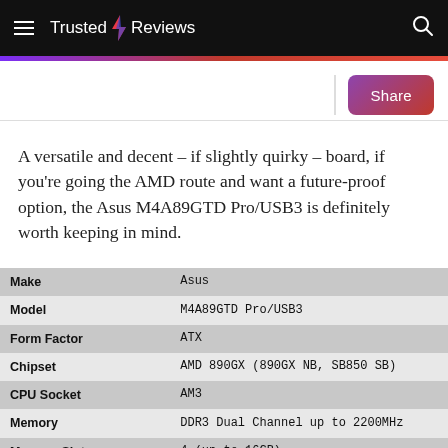Trusted Reviews
A versatile and decent – if slightly quirky – board, if you're going the AMD route and want a future-proof option, the Asus M4A89GTD Pro/USB3 is definitely worth keeping in mind.
|  |  |
| --- | --- |
| Make | Asus |
| Model | M4A89GTD Pro/USB3 |
| Form Factor | ATX |
| Chipset | AMD 890GX (890GX NB, SB850 SB) |
| CPU Socket | AM3 |
| Memory | DDR3 Dual Channel up to 2200MHz |
| Memory Slots | 4 (up to 16GB) |
| Graphics Slots | 2x PCle 16x (2x 8 in CrossFire) |
| PCI-Express Slots | 1x PCle 1x, 1x PCle 4x |
| Integrated Graphics | Radeon HD 4290 |